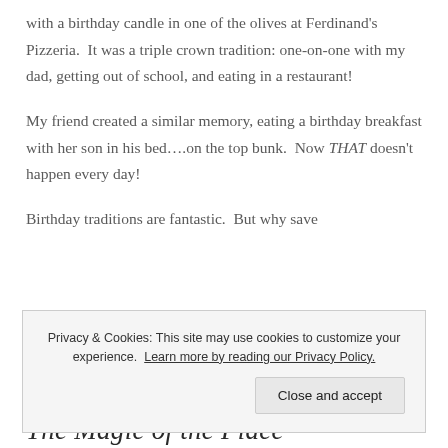with a birthday candle in one of the olives at Ferdinand's Pizzeria.  It was a triple crown tradition: one-on-one with my dad, getting out of school, and eating in a restaurant!
My friend created a similar memory, eating a birthday breakfast with her son in his bed….on the top bunk.  Now THAT doesn't happen every day!
Birthday traditions are fantastic.  But why save
Privacy & Cookies: This site may use cookies to customize your experience. Learn more by reading our Privacy Policy.
Close and accept
The Magic of the Place